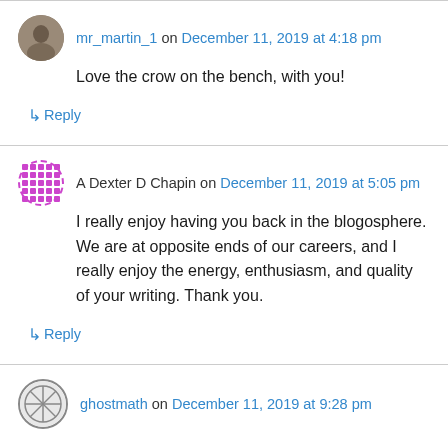mr_martin_1 on December 11, 2019 at 4:18 pm
Love the crow on the bench, with you!
↳ Reply
A Dexter D Chapin on December 11, 2019 at 5:05 pm
I really enjoy having you back in the blogosphere. We are at opposite ends of our careers, and I really enjoy the energy, enthusiasm, and quality of your writing. Thank you.
↳ Reply
ghostmath on December 11, 2019 at 9:28 pm